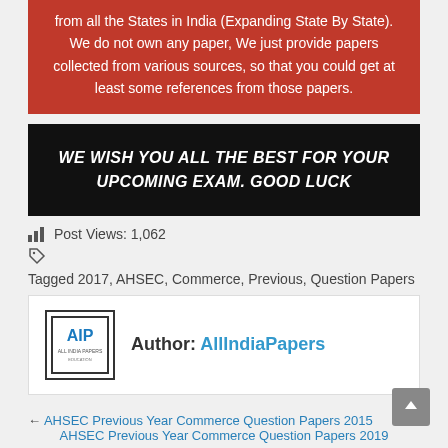from all the States in India (Expanding State By State). We do not own any paper, We just provide papers collected from various sources, so that you could get at least some references from those papers.
WE WISH YOU ALL THE BEST FOR YOUR UPCOMING EXAM. GOOD LUCK
Post Views: 1,062
Tagged 2017, AHSEC, Commerce, Previous, Question Papers
Author: AllIndiaPapers
← AHSEC Previous Year Commerce Question Papers 2015
AHSEC Previous Year Commerce Question Papers 2019